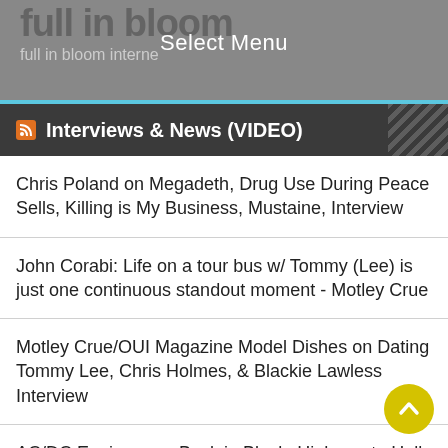full in bloom internet — Select Menu
Interviews & News (VIDEO)
Chris Poland on Megadeth, Drug Use During Peace Sells, Killing is My Business, Mustaine, Interview
John Corabi: Life on a tour bus w/ Tommy (Lee) is just one continuous standout moment - Motley Crue
Motley Crue/OUI Magazine Model Dishes on Dating Tommy Lee, Chris Holmes, & Blackie Lawless Interview
AC/DC Engineer on Back in Black, Highway to Hell, Bon Scott, Mutt Lange, Brian Johnson - Tony Platt
Zakk Wylde, "How can they call it a PANTERA Reunion? It's a PANTERA celebration" w/ Charlie Benante
Craig Goldy on Ronnie James Dio's Moment of